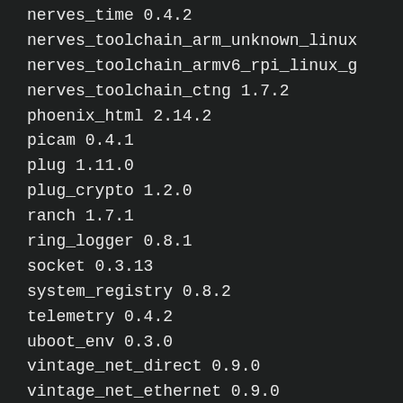nerves_time 0.4.2
nerves_toolchain_arm_unknown_linux
nerves_toolchain_armv6_rpi_linux_g
nerves_toolchain_ctng 1.7.2
phoenix_html 2.14.2
picam 0.4.1
plug 1.11.0
plug_crypto 1.2.0
ranch 1.7.1
ring_logger 0.8.1
socket 0.3.13
system_registry 0.8.2
telemetry 0.4.2
uboot_env 0.3.0
vintage_net_direct 0.9.0
vintage_net_ethernet 0.9.0
vintage_net_wizard 0.4.0
websocket_client 1.4.2
Ungraded: